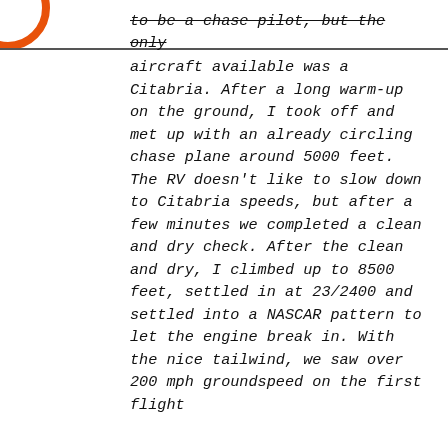[Figure (logo): Partial orange circular logo in top-left corner]
to be a chase pilot, but the only aircraft available was a Citabria. After a long warm-up on the ground, I took off and met up with an already circling chase plane around 5000 feet. The RV doesn't like to slow down to Citabria speeds, but after a few minutes we completed a clean and dry check. After the clean and dry, I climbed up to 8500 feet, settled in at 23/2400 and settled into a NASCAR pattern to let the engine break in. With the nice tailwind, we saw over 200 mph groundspeed on the first flight